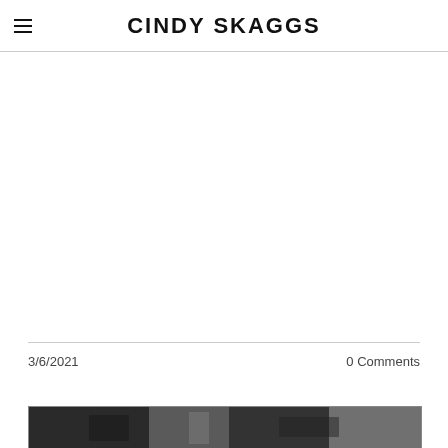CINDY SKAGGS
3/6/2021
0 Comments
[Figure (photo): Preview image of a blog post, showing a dark photograph partially visible at the bottom of the page]